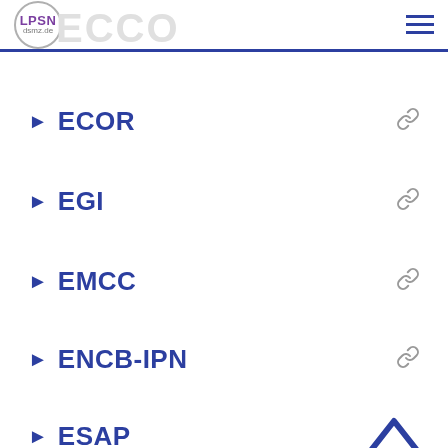LPSN dsmz.de
ECOR
EGI
EMCC
ENCB-IPN
ESAP